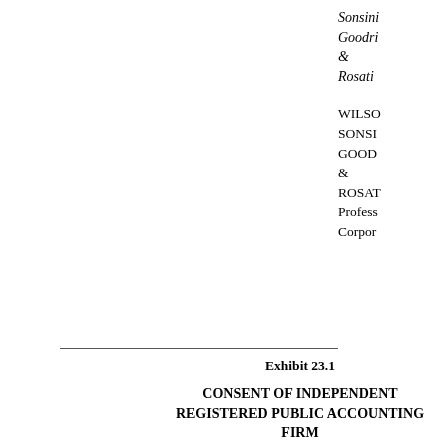Sonsini Goodrich & Rosati
WILSON SONSINI GOODRICH & ROSATI Professional Corporation
Exhibit 23.1
CONSENT OF INDEPENDENT REGISTERED PUBLIC ACCOUNTING FIRM
We consent to the incorporation by reference in the Registration Statement (Form S-8) pertaining to the Pacific Biosciences of